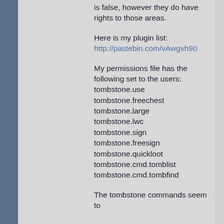is false, however they do have rights to those areas.
Here is my plugin list: http://pastebin.com/vAwgvh90
My permissions file has the following set to the users: tombstone.use tombstone.freechest tombstone.large tombstone.lwc tombstone.sign tombstone.freesign tombstone.quickloot tombstone.cmd.tomblist tombstone.cmd.tombfind
The tombstone commands seem to